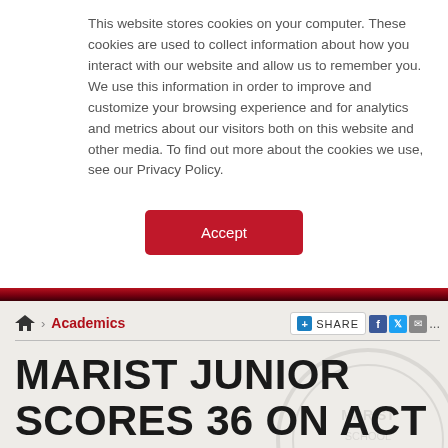This website stores cookies on your computer. These cookies are used to collect information about how you interact with our website and allow us to remember you. We use this information in order to improve and customize your browsing experience and for analytics and metrics about our visitors both on this website and other media. To find out more about the cookies we use, see our Privacy Policy.
[Figure (other): Red Accept button for cookie consent]
Academics
MARIST JUNIOR SCORES 36 ON ACT